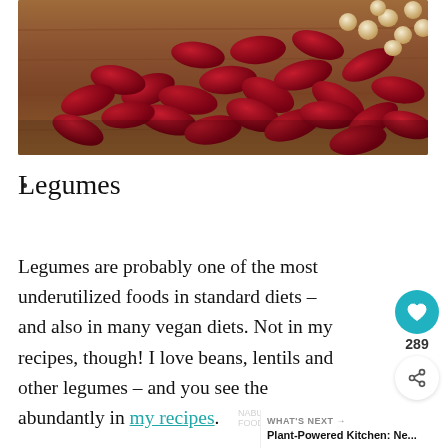[Figure (photo): Overhead photo of red kidney beans and chickpeas scattered on a wooden surface]
Legumes
Legumes are probably one of the most underutilized foods in standard diets – and also in many vegan diets. Not in my recipes, though! I love beans, lentils and other legumes – and you see them abundantly in my recipes.